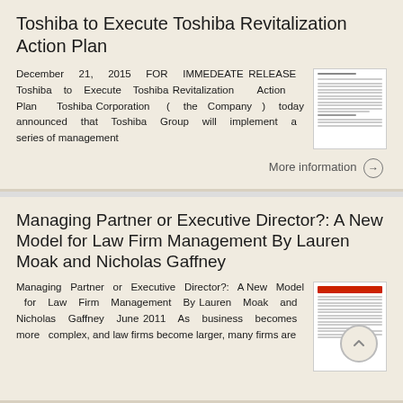Toshiba to Execute Toshiba Revitalization Action Plan
December 21, 2015 FOR IMMEDEATE RELEASE Toshiba to Execute Toshiba Revitalization Action Plan Toshiba Corporation ( the Company ) today announced that Toshiba Group will implement a series of management
More information →
Managing Partner or Executive Director?: A New Model for Law Firm Management By Lauren Moak and Nicholas Gaffney
Managing Partner or Executive Director?: A New Model for Law Firm Management By Lauren Moak and Nicholas Gaffney June 2011 As business becomes more complex, and law firms become larger, many firms are